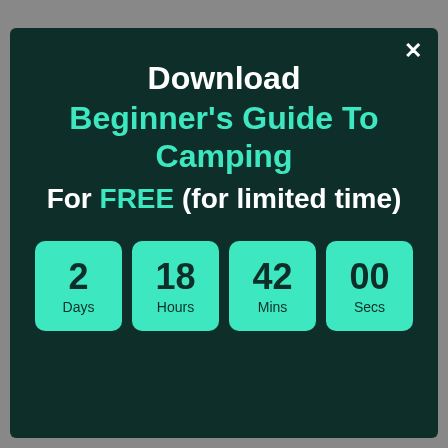Download Beginner's Guide To Camping For FREE (for limited time)
[Figure (infographic): Countdown timer showing 2 Days, 18 Hours, 42 Mins, 00 Secs on teal rounded boxes against dark green background]